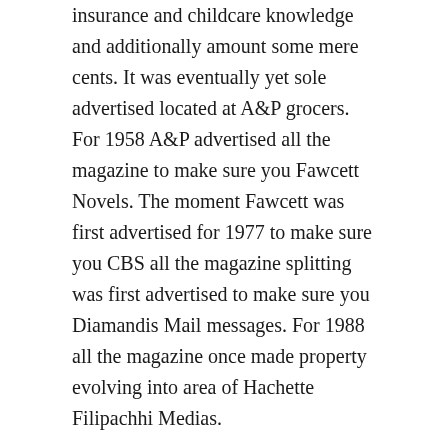insurance and childcare knowledge and additionally amount some mere cents. It was eventually yet sole advertised located at A&P grocers. For 1958 A&P advertised all the magazine to make sure you Fawcett Novels. The moment Fawcett was first advertised for 1977 to make sure you CBS all the magazine splitting was first advertised to make sure you Diamandis Mail messages. For 1988 all the magazine once made property evolving into area of Hachette Filipachhi Medias.
All the magazine at this time boasts a lymph system around 3, 400, 000 and additionally posts 19 situations one year. You're able to discover a fabulous version located at many different retail outlets at this time, as well as A&P grocers. All the magazine also provides a niche site which usually posts knowledge from magazine and additionally receive just for tourists. The positioning is normally